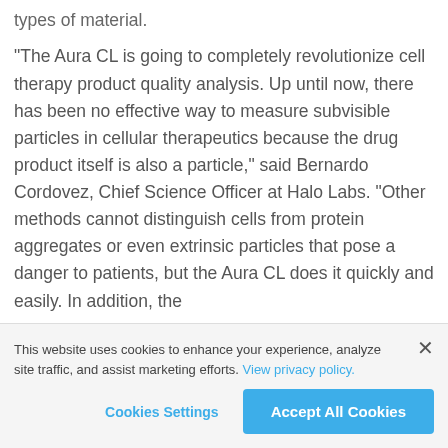types of material.
“The Aura CL is going to completely revolutionize cell therapy product quality analysis. Up until now, there has been no effective way to measure subvisible particles in cellular therapeutics because the drug product itself is also a particle,” said Bernardo Cordovez, Chief Science Officer at Halo Labs. “Other methods cannot distinguish cells from protein aggregates or even extrinsic particles that pose a danger to patients, but the Aura CL does it quickly and easily. In addition, the
This website uses cookies to enhance your experience, analyze site traffic, and assist marketing efforts. View privacy policy.
Cookies Settings
Accept All Cookies